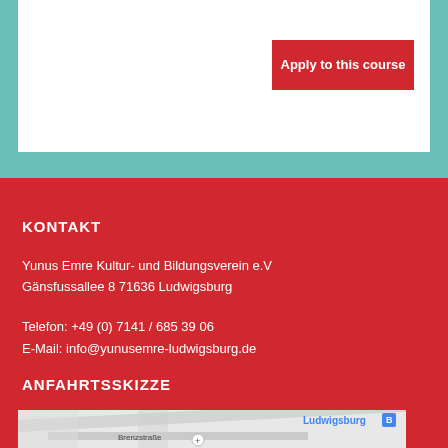Apply to this course
KONTAKT
Yunus Emre Kultur- und Bildungsverein e.V
Gänsfussallee 8 71636 Ludwigsburg
Telefon: +49 (0) 7141 / 685 39 06
E-Mail: info@yunusemre-ludwigsburg.de
ANFAHRTSSKIZZE
[Figure (map): Street map showing Ludwigsburg area with Brenzstraße visible]